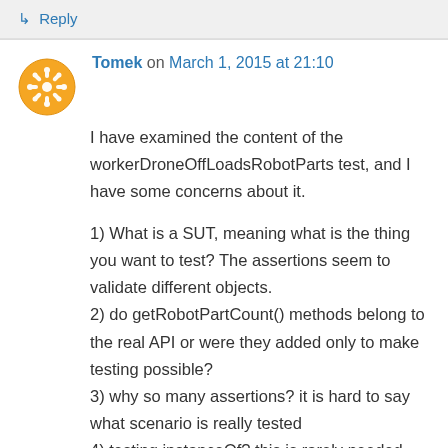↳ Reply
Tomek on March 1, 2015 at 21:10
I have examined the content of the workerDroneOffLoadsRobotParts test, and I have some concerns about it.
1) What is a SUT, meaning what is the thing you want to test? The assertions seem to validate different objects.
2) do getRobotPartCount() methods belong to the real API or were they added only to make testing possible?
3) why so many assertions? it is hard to say what scenario is really tested
4) testing instanceOf? this is rarely needed, and